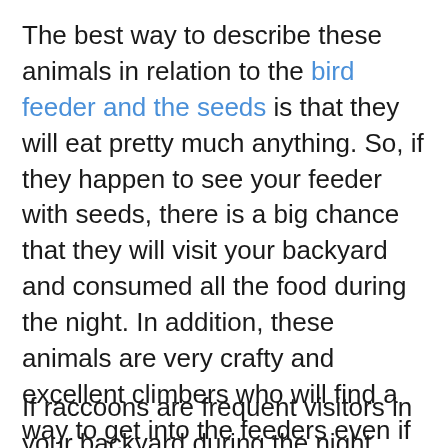The best way to describe these animals in relation to the bird feeder and the seeds is that they will eat pretty much anything. So, if they happen to see your feeder with seeds, there is a big chance that they will visit your backyard and consumed all the food during the night. In addition, these animals are very crafty and excellent climbers who will find a way to get into the feeders even if you are building obstacles and protection to your bird feeders.
If raccoons are frequent visitors in your backyard during the night, you can use a